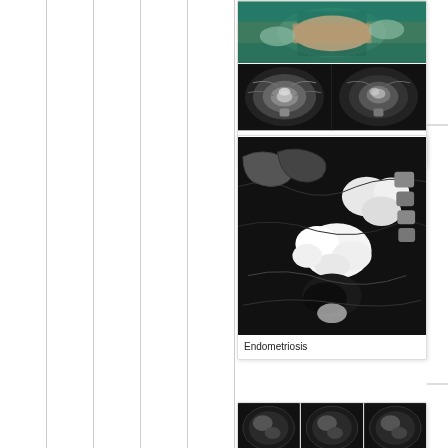[Figure (photo): Medical card showing surgical and CT scan images for Abdominal Wall Reconstruction]
Abdominal Wall Reconstruction
[Figure (photo): Medical card showing MRI image of Endometriosis]
Endometriosis
[Figure (photo): Medical card showing multiple medical images at bottom of page]